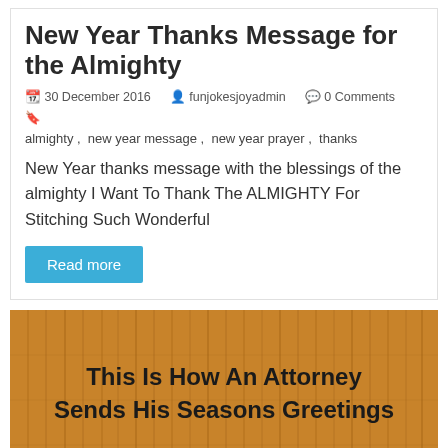New Year Thanks Message for the Almighty
30 December 2016  funjokesjoyadmin  0 Comments  almighty, new year message, new year prayer, thanks
New Year thanks message with the blessings of the almighty I Want To Thank The ALMIGHTY For Stitching Such Wonderful
Read more
[Figure (photo): Wood plank texture background with bold black text reading 'This Is How An Attorney Sends His Seasons Greetings']